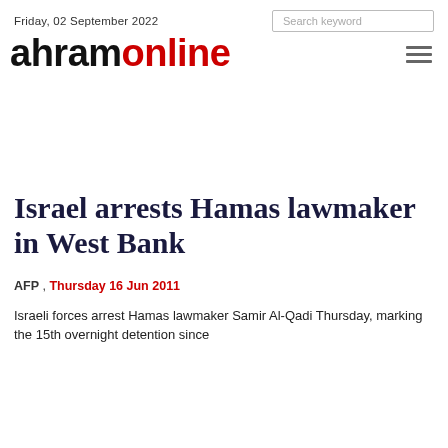Friday, 02 September 2022
[Figure (logo): Ahram Online logo with 'ahram' in black bold and 'online' in red bold]
Israel arrests Hamas lawmaker in West Bank
AFP , Thursday 16 Jun 2011
Israeli forces arrest Hamas lawmaker Samir Al-Qadi Thursday, marking the 15th overnight detention since